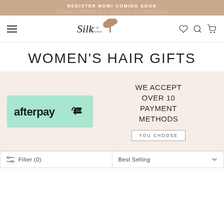REGISTER NOW! COMING SOON
EMILEE HEMBROW + SILK OIL OF MOROCCO
[Figure (logo): Silk Oil of Morocco logo with stylized text and tree illustration]
WOMEN'S HAIR GIFTS
[Figure (infographic): Afterpay logo on mint green background alongside text: WE ACCEPT OVER 10 PAYMENT METHODS with YOU CHOOSE button]
Filter (0)
Best Selling